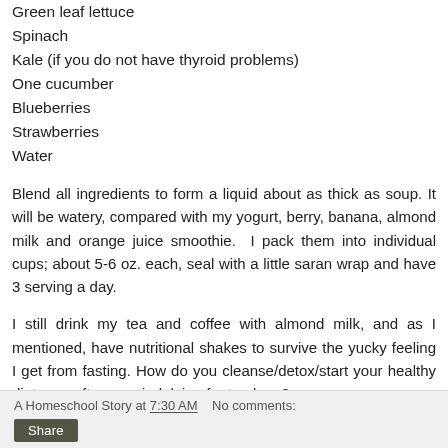Green leaf lettuce
Spinach
Kale (if you do not have thyroid problems)
One cucumber
Blueberries
Strawberries
Water
Blend all ingredients to form a liquid about as thick as soup. It will be watery, compared with my yogurt, berry, banana, almond milk and orange juice smoothie.  I pack them into individual cups; about 5-6 oz. each, seal with a little saran wrap and have 3 serving a day.
I still drink my tea and coffee with almond milk, and as I mentioned, have nutritional shakes to survive the yucky feeling I get from fasting. How do you cleanse/detox/start your healthy diet over after over-indulging for too long?
A Homeschool Story at 7:30 AM    No comments:    Share